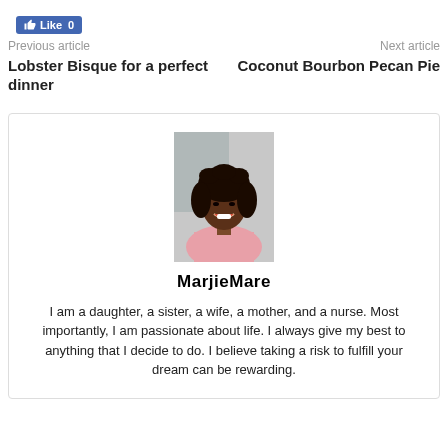[Figure (other): Facebook Like button showing 'Like 0']
Previous article    Next article
Lobster Bisque for a perfect dinner    Coconut Bourbon Pecan Pie
[Figure (photo): Profile photo of MarjieMare, a smiling woman with curly hair wearing a pink top]
MarjieMare
I am a daughter, a sister, a wife, a mother, and a nurse. Most importantly, I am passionate about life. I always give my best to anything that I decide to do. I believe taking a risk to fulfill your dream can be rewarding.